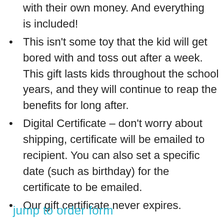with their own money. And everything is included!
This isn't some toy that the kid will get bored with and toss out after a week. This gift lasts kids throughout the school years, and they will continue to reap the benefits for long after.
Digital Certificate – don't worry about shipping, certificate will be emailed to recipient. You can also set a specific date (such as birthday) for the certificate to be emailed.
Our gift certificate never expires.
jump to order form